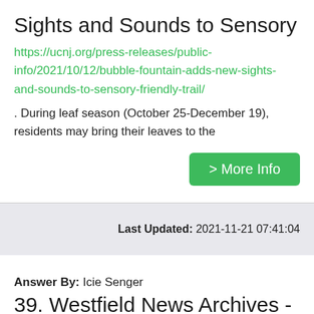Sights and Sounds to Sensory
https://ucnj.org/press-releases/public-info/2021/10/12/bubble-fountain-adds-new-sights-and-sounds-to-sensory-friendly-trail/
. During leaf season (October 25-December 19), residents may bring their leaves to the
> More Info
Last Updated: 2021-11-21 07:41:04
Answer By: Icie Senger
39. Westfield News Archives - Luxury Homes/Top Towns
https://www.luxuryhomesnj.com/category/westfield-news/
for disposal. Residents do not need a permit to do so